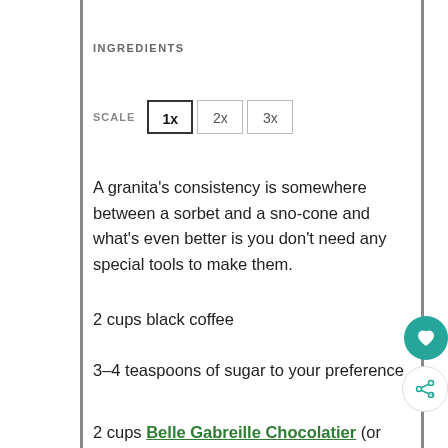INGREDIENTS
SCALE  1x  2x  3x
A granita's consistency is somewhere between a sorbet and a sno-cone and what's even better is you don't need any special tools to make them.
2 cups black coffee
3–4 teaspoons of sugar to your preference
2 cups Belle Gabreille Chocolatier (or your favorite coffee or chocolate liqueur)